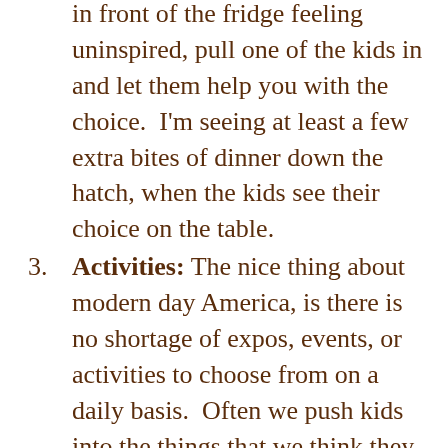in front of the fridge feeling uninspired, pull one of the kids in and let them help you with the choice.  I'm seeing at least a few extra bites of dinner down the hatch, when the kids see their choice on the table.
Activities: The nice thing about modern day America, is there is no shortage of expos, events, or activities to choose from on a daily basis.  Often we push kids into the things that we think they should do, but what about giving them the choice?  I'm willing to bet if there were more choices given in advance, there